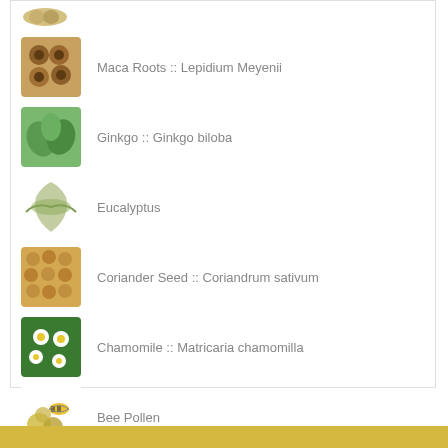Maca Roots :: Lepidium Meyenii
Ginkgo :: Ginkgo biloba
Eucalyptus
Coriander Seed :: Coriandrum sativum
Chamomile :: Matricaria chamomilla
Bee Pollen